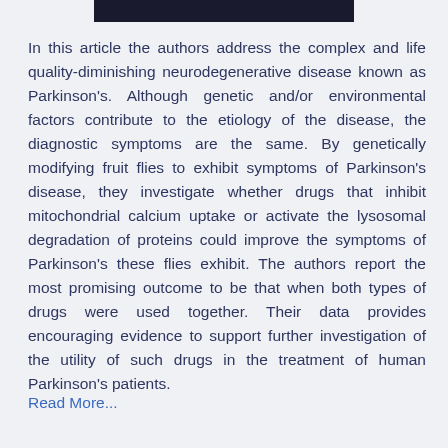[Figure (other): Black header bar at the top of the page]
In this article the authors address the complex and life quality-diminishing neurodegenerative disease known as Parkinson's. Although genetic and/or environmental factors contribute to the etiology of the disease, the diagnostic symptoms are the same. By genetically modifying fruit flies to exhibit symptoms of Parkinson's disease, they investigate whether drugs that inhibit mitochondrial calcium uptake or activate the lysosomal degradation of proteins could improve the symptoms of Parkinson's these flies exhibit. The authors report the most promising outcome to be that when both types of drugs were used together. Their data provides encouraging evidence to support further investigation of the utility of such drugs in the treatment of human Parkinson's patients.
Read More...